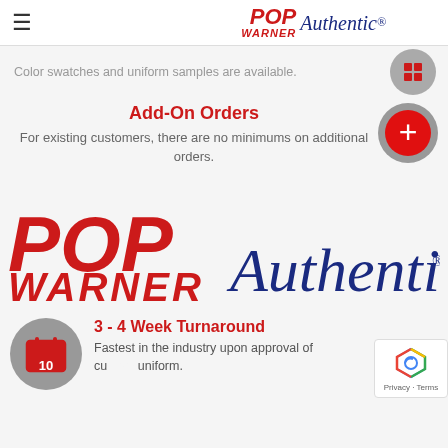POP WARNER Authentic
Color swatches and uniform samples are available.
Add-On Orders
For existing customers, there are no minimums on additional orders.
[Figure (logo): Pop Warner Authentic large logo — POP WARNER in bold italic red, Authentic in cursive dark blue]
3 - 4 Week Turnaround
Fastest in the industry upon approval of custom uniform.